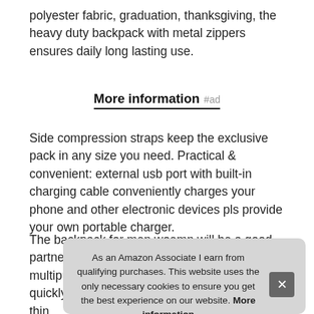polyester fabric, graduation, thanksgiving, the heavy duty backpack with metal zippers ensures daily long lasting use.
More information #ad
Side compression straps keep the exclusive pack in any size you need. Practical & convenient: external usb port with built-in charging cable conveniently charges your phone and other electronic devices pls provide your own portable charger.
The backpack for men woemn will be a good partner for travel, business, etc. Tsa approved & multipurpose: at checkpoints, allowing you to quickly pass through airport security and keep thin com mai clot bott backpack owns 2 spacious compartments one separate
As an Amazon Associate I earn from qualifying purchases. This website uses the only necessary cookies to ensure you get the best experience on our website. More information